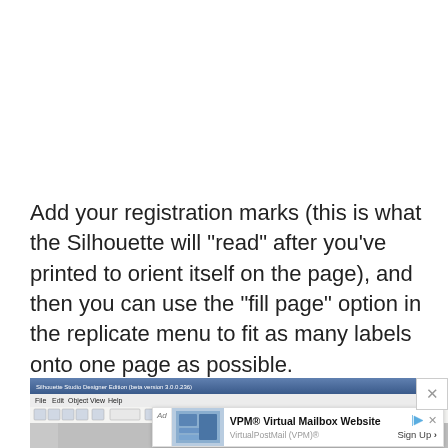Add your registration marks (this is what the Silhouette will "read" after you've printed to orient itself on the page), and then you can use the "fill page" option in the replicate menu to fit as many labels onto one page as possible.
[Figure (screenshot): Screenshot of Silhouette Studio Designer Edition software with toolbar and menu bar visible, partially obscured by an advertisement banner for VPM Virtual Mailbox Website]